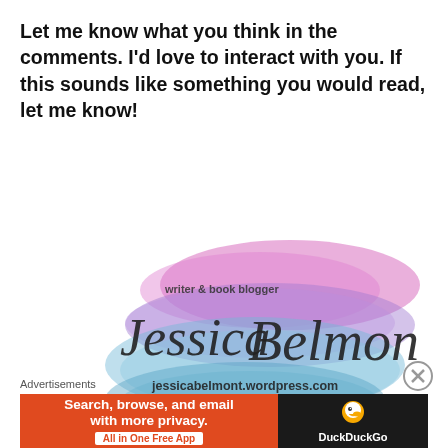Let me know what you think in the comments. I'd love to interact with you. If this sounds like something you would read, let me know!
[Figure (logo): Jessica Belmont writer & book blogger logo with watercolor brush strokes in pink, purple, and blue. Text reads: writer & book blogger, JessicaBelmont, jessicabelmont.wordpress.com]
Advertisements
[Figure (screenshot): DuckDuckGo advertisement banner: orange left panel reads 'Search, browse, and email with more privacy. All in One Free App', black right panel shows DuckDuckGo duck logo and name]